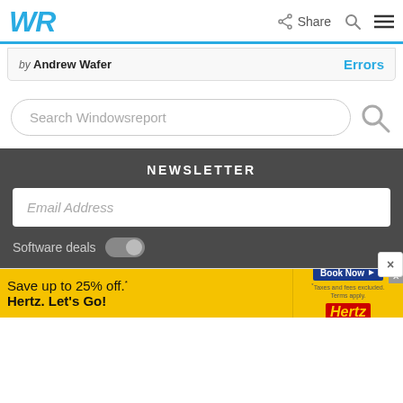WR | Share | Search | Menu
by Andrew Wafer  Errors
Search Windowsreport
NEWSLETTER
Email Address
Software deals
[Figure (screenshot): Hertz advertisement banner: Save up to 25% off. Hertz. Let's Go! with Book Now button and Hertz logo]